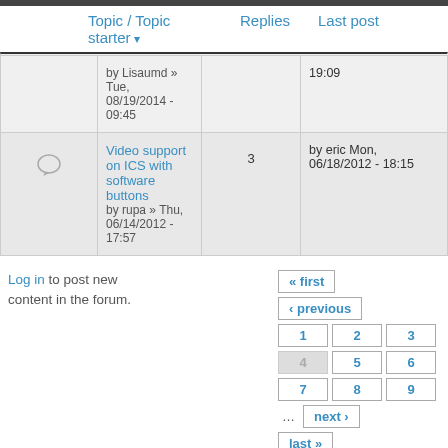|  | Topic / Topic starter | Replies | Last post |
| --- | --- | --- | --- |
|  | by Lisaumd » Tue, 08/19/2014 - 09:45 |  | 19:09 |
| [icon] | Video support on ICS with software buttons
by rupa » Thu, 06/14/2012 - 17:57 | 3 | by eric Mon, 06/18/2012 - 18:15 |
Log in to post new content in the forum.
« first
‹ previous
1  2  3  4  5  6  7  8  9  ...  next ›  last »